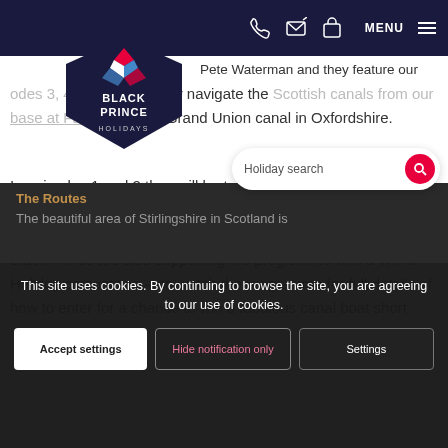Black Prince Holidays – Navigation header with logo, phone, email, bag icons, MENU button
[Figure (logo): Black Prince Holidays logo – diamond/chevron design in white, red, blue on dark navy hexagon badge with text BLACK PRINCE HOLIDAYS]
Pete Waterman and they feature our episodes 3, 4, 5 and 6 as they navigate the Scottish canals from our base at Falkirk and the Grand Union canal in Oxfordshire.
In episodes 1 and 2 they will be touring the Leeds to Liverpool Canal.
Black Prince are also supporting the programme with a Win a Holiday competition – so watch the programme for full details of how to enter for a chance to win a fabulous canal boat short break!
The Routes
The beautiful area of Stirlingshire in Scotland is
This site uses cookies. By continuing to browse the site, you are agreeing to our use of cookies.